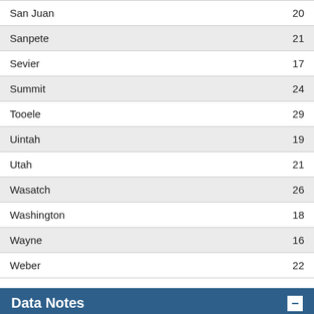| County | Value |
| --- | --- |
| San Juan | 20 |
| Sanpete | 21 |
| Sevier | 17 |
| Summit | 24 |
| Tooele | 29 |
| Uintah | 19 |
| Utah | 21 |
| Wasatch | 26 |
| Washington | 18 |
| Wayne | 16 |
| Weber | 22 |
Data Notes
Notes
Data are extracted from the National Environmental Public Health Tracking Network using their API.